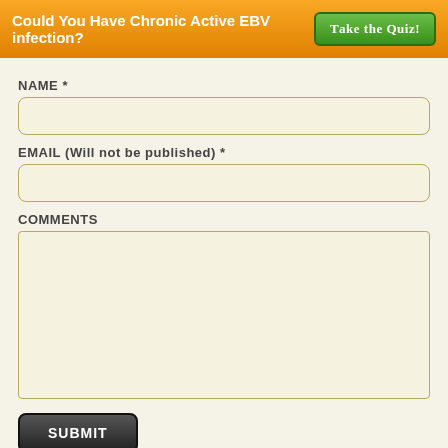Could You Have Chronic Active EBV infection? TAKE THE QUIZ!
NAME *
EMAIL (Will not be published) *
COMMENTS
SUBMIT
MEET HOLISTIC NUTRITION NATURALLY